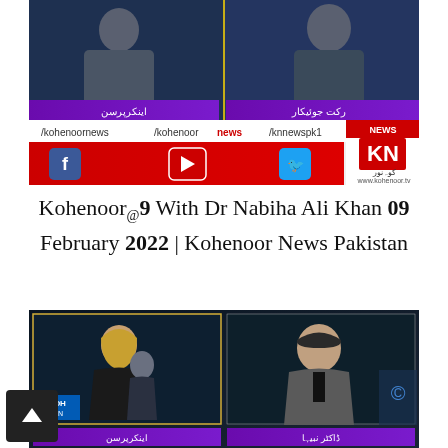[Figure (screenshot): Kohenoor News TV broadcast screenshot showing two presenters in suits with Urdu name lower-thirds, social media links bar (Facebook, YouTube, Twitter), KN News logo, and website www.kohenoor.tv]
Kohenoor@9 With Dr Nabiha Ali Khan 09 February 2022 | Kohenoor News Pakistan
[Figure (screenshot): Kohenoor News TV broadcast screenshot showing female host in black dress with blonde hair and male guest in grey suit against studio background, with Urdu name lower-thirds]